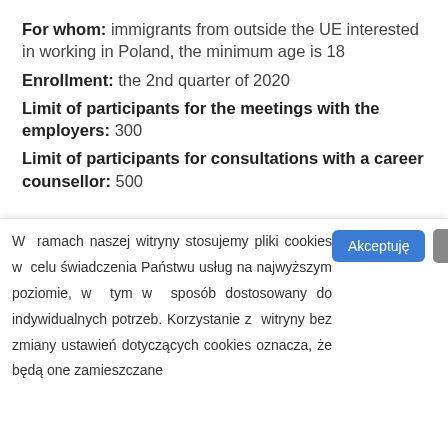For whom: immigrants from outside the UE interested in working in Poland, the minimum age is 18
Enrollment: the 2nd quarter of 2020
Limit of participants for the meetings with the employers: 300
Limit of participants for consultations with a career counsellor: 500
W ramach naszej witryny stosujemy pliki cookies w celu świadczenia Państwu usług na najwyższym poziomie, w tym w sposób dostosowany do indywidualnych potrzeb. Korzystanie z witryny bez zmiany ustawień dotyczących cookies oznacza, że będą one zamieszczane